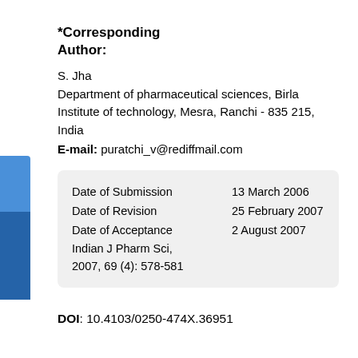*Corresponding Author:
S. Jha
Department of pharmaceutical sciences, Birla Institute of technology, Mesra, Ranchi - 835 215, India
E-mail: puratchi_v@rediffmail.com
| Date of Submission | 13 March 2006 |
| Date of Revision | 25 February 2007 |
| Date of Acceptance | 2 August 2007 |
| Indian J Pharm Sci, 2007, 69 (4): 578-581 |  |
DOI: 10.4103/0250-474X.36951